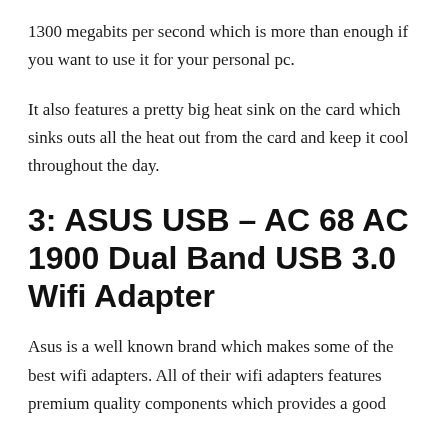1300 megabits per second which is more than enough if you want to use it for your personal pc.
It also features a pretty big heat sink on the card which sinks outs all the heat out from the card and keep it cool throughout the day.
3: ASUS USB – AC 68 AC 1900 Dual Band USB 3.0 Wifi Adapter
Asus is a well known brand which makes some of the best wifi adapters. All of their wifi adapters features premium quality components which provides a good